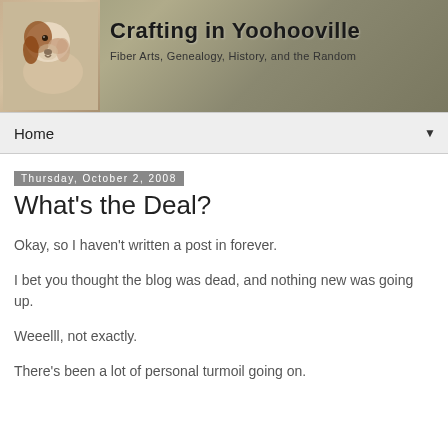[Figure (illustration): Blog header banner for 'Crafting in Yoohooville' with a dog image on the left and textured water/stone background. Title reads 'Crafting in Yoohooville' with subtitle 'Fiber Arts, Genealogy, History, and the Random']
Home ▼
Thursday, October 2, 2008
What's the Deal?
Okay, so I haven't written a post in forever.
I bet you thought the blog was dead, and nothing new was going up.
Weeelll, not exactly.
There's been a lot of personal turmoil going on.